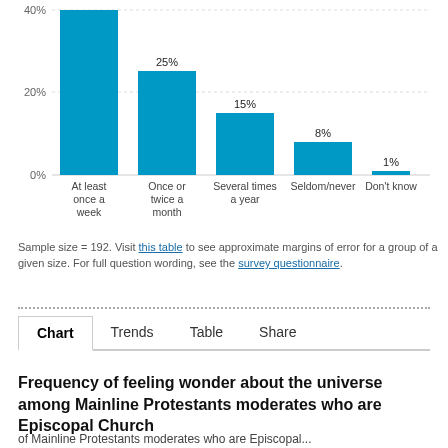[Figure (bar-chart): Frequency of feeling wonder about the universe among Mainline Protestants moderates who are Episcopal Church]
Sample size = 192. Visit this table to see approximate margins of error for a group of a given size. For full question wording, see the survey questionnaire.
Frequency of feeling wonder about the universe among Mainline Protestants moderates who are Episcopal Church